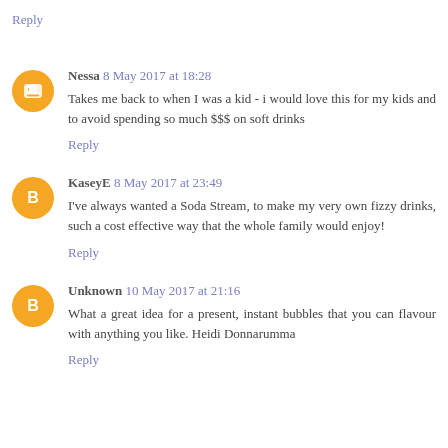Reply
Nessa 8 May 2017 at 18:28
Takes me back to when I was a kid - i would love this for my kids and to avoid spending so much $$$ on soft drinks
Reply
KaseyE 8 May 2017 at 23:49
I've always wanted a Soda Stream, to make my very own fizzy drinks, such a cost effective way that the whole family would enjoy!
Reply
Unknown 10 May 2017 at 21:16
What a great idea for a present, instant bubbles that you can flavour with anything you like. Heidi Donnarumma
Reply